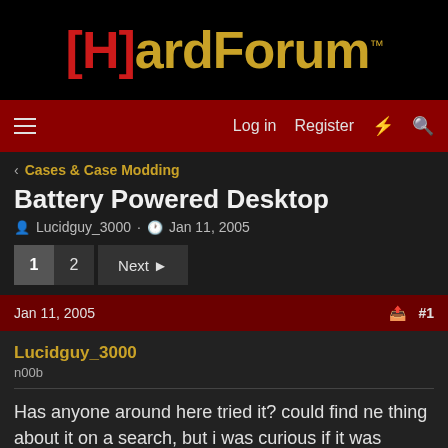[Figure (logo): [H]ardForum logo with red brackets and gold text on black background]
Log in  Register
< Cases & Case Modding
Battery Powered Desktop
Lucidguy_3000 · Jan 11, 2005
1  2  Next
Jan 11, 2005  #1
Lucidguy_3000
n00b
Has anyone around here tried it? could find ne thing about it on a search, but i was curious if it was possible to battery-power a desktop board with some creative electician work.